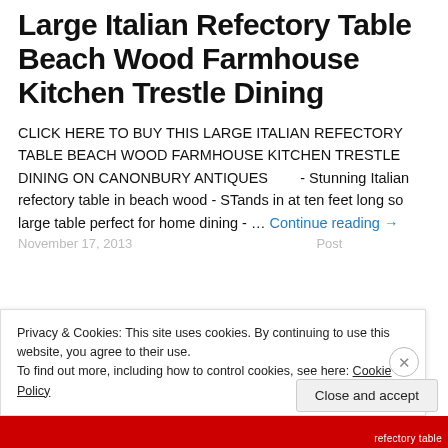Large Italian Refectory Table Beach Wood Farmhouse Kitchen Trestle Dining
CLICK HERE TO BUY THIS LARGE ITALIAN REFECTORY TABLE BEACH WOOD FARMHOUSE KITCHEN TRESTLE DINING ON CANONBURY ANTIQUES       - Stunning Italian refectory table in beach wood - STands in at ten feet long so large table perfect for home dining - … Continue reading →
Privacy & Cookies: This site uses cookies. By continuing to use this website, you agree to their use. To find out more, including how to control cookies, see here: Cookie Policy